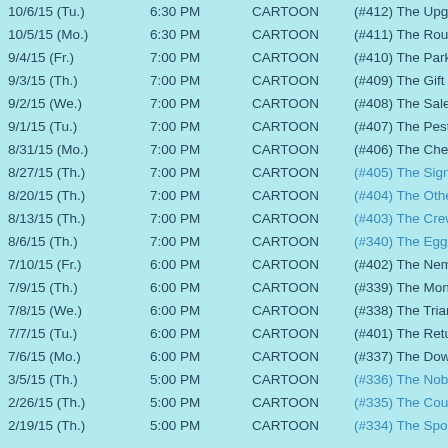| Date | Time | Network | Episode |
| --- | --- | --- | --- |
| 10/6/15 (Tu.) | 6:30 PM | CARTOON | (#412) The Upgrade |
| 10/5/15 (Mo.) | 6:30 PM | CARTOON | (#411) The Routine |
| 9/4/15 (Fr.) | 7:00 PM | CARTOON | (#410) The Parking |
| 9/3/15 (Th.) | 7:00 PM | CARTOON | (#409) The Gift |
| 9/2/15 (We.) | 7:00 PM | CARTOON | (#408) The Sale |
| 9/1/15 (Tu.) | 7:00 PM | CARTOON | (#407) The Pest |
| 8/31/15 (Mo.) | 7:00 PM | CARTOON | (#406) The Check |
| 8/27/15 (Th.) | 7:00 PM | CARTOON | (#405) The Signature |
| 8/20/15 (Th.) | 7:00 PM | CARTOON | (#404) The Others |
| 8/13/15 (Th.) | 7:00 PM | CARTOON | (#403) The Crew |
| 8/6/15 (Th.) | 7:00 PM | CARTOON | (#340) The Egg |
| 7/10/15 (Fr.) | 6:00 PM | CARTOON | (#402) The Nemesis |
| 7/9/15 (Th.) | 6:00 PM | CARTOON | (#339) The Money |
| 7/8/15 (We.) | 6:00 PM | CARTOON | (#338) The Triangle |
| 7/7/15 (Tu.) | 6:00 PM | CARTOON | (#401) The Return |
| 7/6/15 (Mo.) | 6:00 PM | CARTOON | (#337) The Downer |
| 3/5/15 (Th.) | 5:00 PM | CARTOON | (#336) The Nobody |
| 2/26/15 (Th.) | 5:00 PM | CARTOON | (#335) The Countdown |
| 2/19/15 (Th.) | 5:00 PM | CARTOON | (#334) The Spoiler |